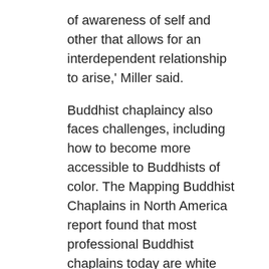of awareness of self and other that allows for an interdependent relationship to arise,' Miller said.
Buddhist chaplaincy also faces challenges, including how to become more accessible to Buddhists of color. The Mapping Buddhist Chaplains in North America report found that most professional Buddhist chaplains today are white and have a Christian family background, even though nearly two-thirds of the faith's followers in the U.S. are Asian American, according to the Pew Research Center.